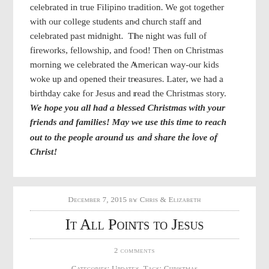celebrated in true Filipino tradition. We got together with our college students and church staff and celebrated past midnight.  The night was full of fireworks, fellowship, and food! Then on Christmas morning we celebrated the American way-our kids woke up and opened their treasures. Later, we had a birthday cake for Jesus and read the Christmas story. We hope you all had a blessed Christmas with your friends and families! May we use this time to reach out to the people around us and share the love of Christ!
December 7, 2015 by Chris & Elizabeth
It All Points to Jesus
2 comments
Categories: Updates, Tags: Christmas